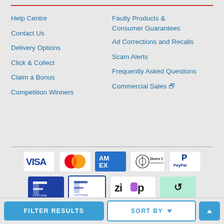Help Centre
Contact Us
Delivery Options
Click & Collect
Claim a Bonus
Competition Winners
Faulty Products & Consumer Guarantees
Ad Corrections and Recalls
Scam Alerts
Frequently Asked Questions
Commercial Sales
[Figure (other): Payment method logos: Visa, Mastercard, American Express, Diners Club International, PayPal, Latitude, Latitude (outline), Zip, Afterpay; and security logos: Verified by Visa, Mastercard ID Check, American Express SafeKey]